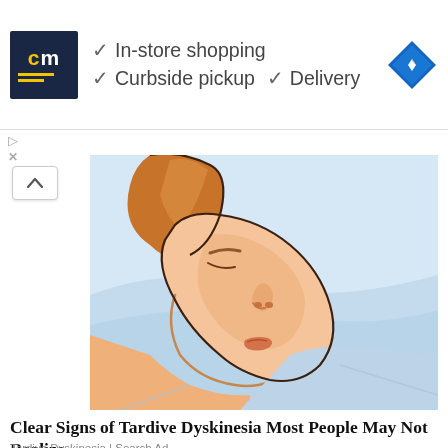[Figure (screenshot): Advertisement banner with CM logo, checkmarks for In-store shopping, Curbside pickup, Delivery, and a blue navigation diamond icon]
[Figure (illustration): Cartoon illustration of a person sleeping on a pillow with drool/saliva on the pillow, blue and white colors]
Clear Signs of Tardive Dyskinesia Most People May Not Realize
Tardive Dyskinesia | Search Ad